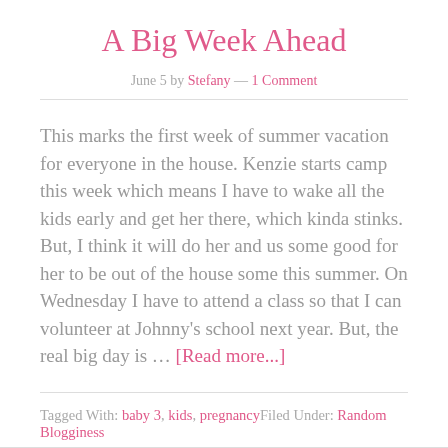A Big Week Ahead
June 5 by Stefany — 1 Comment
This marks the first week of summer vacation for everyone in the house. Kenzie starts camp this week which means I have to wake all the kids early and get her there, which kinda stinks. But, I think it will do her and us some good for her to be out of the house some this summer. On Wednesday I have to attend a class so that I can volunteer at Johnny's school next year. But, the real big day is … [Read more...]
Tagged With: baby 3, kids, pregnancyFiled Under: Random Blogginess